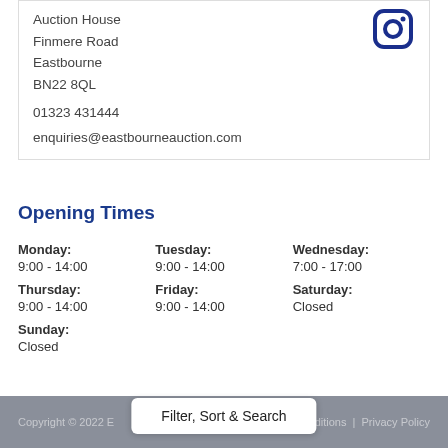Auction House
Finmere Road
Eastbourne
BN22 8QL
01323 431444
enquiries@eastbourneauction.com
Opening Times
Monday: 9:00 - 14:00
Tuesday: 9:00 - 14:00
Wednesday: 7:00 - 17:00
Thursday: 9:00 - 14:00
Friday: 9:00 - 14:00
Saturday: Closed
Sunday: Closed
Copyright © 2022 E... | Terms and Conditions | Privacy Policy